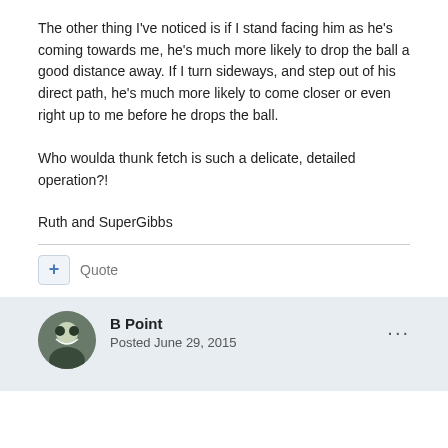The other thing I've noticed is if I stand facing him as he's coming towards me, he's much more likely to drop the ball a good distance away. If I turn sideways, and step out of his direct path, he's much more likely to come closer or even right up to me before he drops the ball.
Who woulda thunk fetch is such a delicate, detailed operation?!
Ruth and SuperGibbs
+ Quote
B Point
Posted June 29, 2015